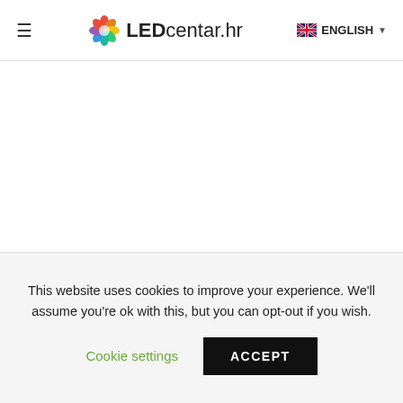LEDcentar.hr — ENGLISH
[Figure (screenshot): Large white blank content area below the navigation header]
This website uses cookies to improve your experience. We'll assume you're ok with this, but you can opt-out if you wish.
Cookie settings   ACCEPT